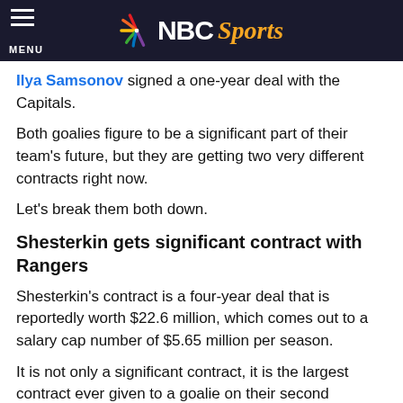NBC Sports
Ilya Samsonov signed a one-year deal with the Capitals.
Both goalies figure to be a significant part of their team's future, but they are getting two very different contracts right now.
Let's break them both down.
Shesterkin gets significant contract with Rangers
Shesterkin's contract is a four-year deal that is reportedly worth $22.6 million, which comes out to a salary cap number of $5.65 million per season.
It is not only a significant contract, it is the largest contract ever given to a goalie on their second contract. It is a clear sign that the Rangers not only know how good Shesterkin already is, but how much they believe in him